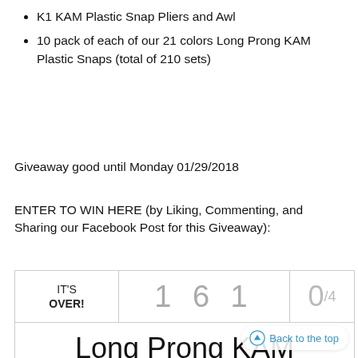K1 KAM Plastic Snap Pliers and Awl
10 pack of each of our 21 colors Long Prong KAM Plastic Snaps (total of 210 sets)
Giveaway good until Monday 01/29/2018
ENTER TO WIN HERE (by Liking, Commenting, and Sharing our Facebook Post for this Giveaway):
[Figure (screenshot): Giveaway widget showing IT'S OVER! with count 1 6 1 and share count 0/4, and the title Long Prong KAM Plastic Snaps & Pliers Starter Pack]
Back to the top